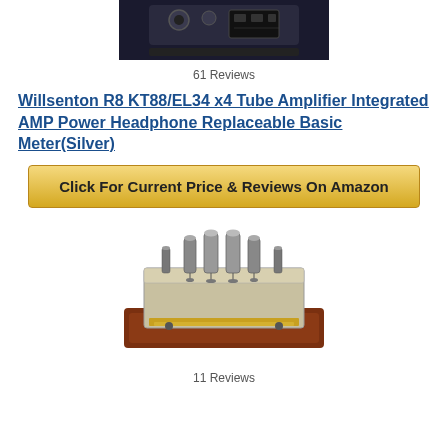[Figure (photo): Partial top view of a tube amplifier in dark/black setting, cropped at top of page]
61 Reviews
Willsenton R8 KT88/EL34 x4 Tube Amplifier Integrated AMP Power Headphone Replaceable Basic Meter(Silver)
Click For Current Price & Reviews On Amazon
[Figure (photo): A tube amplifier with wooden side panels and visible vacuum tubes on top, silver/gold chassis]
11 Reviews